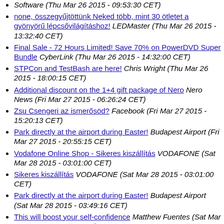Software (Thu Mar 26 2015 - 09:53:30 CET)
none, összegyűjtöttünk Neked több, mint 30 ötletet a gyönyörű lépcsővilágításhoz! LEDMaster (Thu Mar 26 2015 - 13:32:40 CET)
Final Sale - 72 Hours Limited! Save 70% on PowerDVD Super Bundle CyberLink (Thu Mar 26 2015 - 14:32:00 CET)
STPCon and TestBash are here! Chris Wright (Thu Mar 26 2015 - 18:00:15 CET)
Additional discount on the 1+4 gift package of Nero Nero News (Fri Mar 27 2015 - 06:26:24 CET)
Zsu Csengeri az ismerősöd? Facebook (Fri Mar 27 2015 - 15:20:13 CET)
Park directly at the airport during Easter! Budapest Airport (Fri Mar 27 2015 - 20:55:15 CET)
Vodafone Online Shop - Sikeres kiszállítás VODAFONE (Sat Mar 28 2015 - 03:01:00 CET)
Sikeres kiszállítás VODAFONE (Sat Mar 28 2015 - 03:01:00 CET)
Park directly at the airport during Easter! Budapest Airport (Sat Mar 28 2015 - 03:49:16 CET)
This will boost your self-confidence Matthew Fuentes (Sat Mar 28 2015 - 10:16:18 CET)
FW: Medicinal Online Products Aline Noble (Sat Mar 28 2015 - 12:22:12 CET)
Re: ED Online Products Vivian Riggs (Sat Mar 28 2015 -